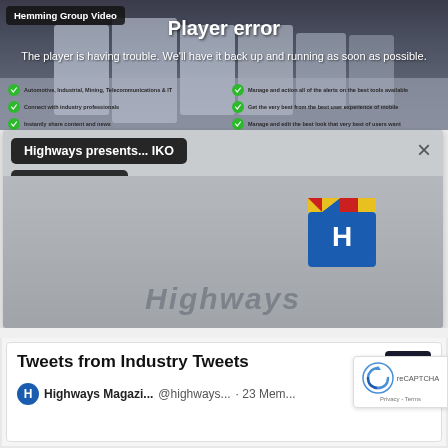[Figure (screenshot): Video player showing a 'Player error' message overlay on top of a blurred mobile app screenshot background. The player has a 'Hemming Group Video' label in top-left. The error text reads 'Player error' and 'The player is having trouble. We'll have it back up and running as soon as possible.']
[Figure (screenshot): A video popup card with title 'Highways presents... IKO' and subtitle 'Hemming Group Video'. A close button (X) is in the top right. The main area shows a clapperboard icon and the word 'Highways' in large italic text.]
Tweets from Industry Tweets
Highways Magazi... @highways... · 23 Mem...